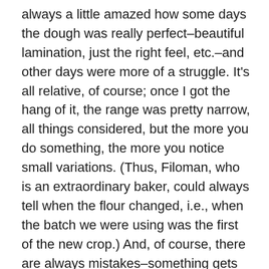always a little amazed how some days the dough was really perfect–beautiful lamination, just the right feel, etc.–and other days were more of a struggle. It's all relative, of course; once I got the hang of it, the range was pretty narrow, all things considered, but the more you do something, the more you notice small variations. (Thus, Filoman, who is an extraordinary baker, could always tell when the flour changed, i.e., when the batch we were using was the first of the new crop.) And, of course, there are always mistakes–something gets left out, say. That happened less frequently (especially if I remembered to taste the raw dough before putting it in the bins–it's a good way to realize you forgot the salt or the sugar, for example), but it still happened.
At home, the criteria are a little different. Take these crackers; the first time, my sesame seeds were old-